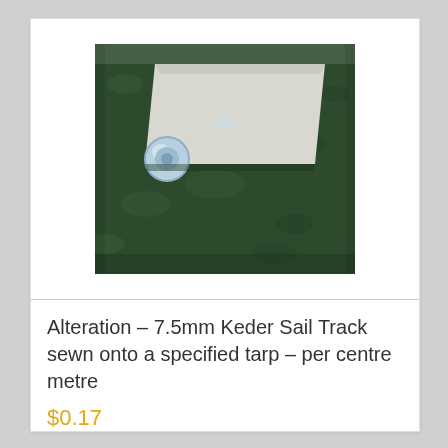[Figure (photo): Close-up photo of a 7.5mm Keder Sail Track product — a light-grey/white plastic extrusion with a rounded tube edge and flat flange, shown at an angle against a dark green textured surface.]
Alteration – 7.5mm Keder Sail Track sewn onto a specified tarp – per centre metre
$0.17